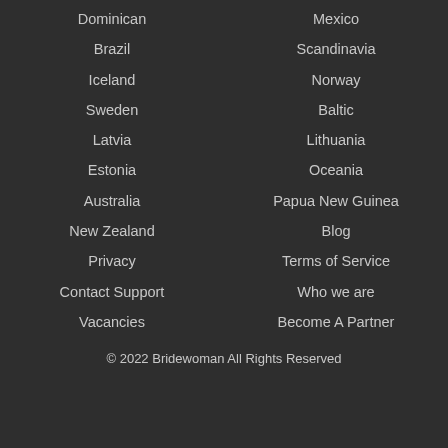Dominican
Mexico
Brazil
Scandinavia
Iceland
Norway
Sweden
Baltic
Latvia
Lithuania
Estonia
Oceania
Australia
Papua New Guinea
New Zealand
Blog
Privacy
Terms of Service
Contact Support
Who we are
Vacancies
Become A Partner
© 2022 Bridewoman All Rights Reserved